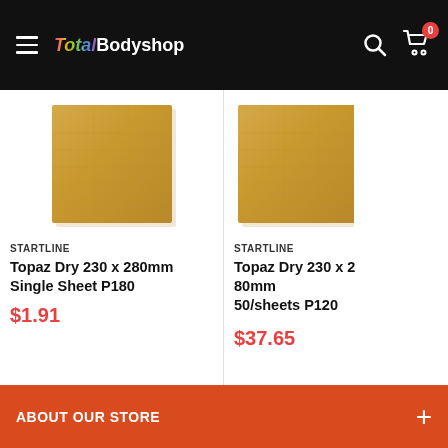Total Bodyshop — navigation header with hamburger menu, logo, search icon, and cart (0 items)
[Figure (photo): Tan/golden sandpaper sheet product image — Topaz Dry single sheet]
STARTLINE
Topaz Dry 230 x 280mm Single Sheet P180
$1.91
[Figure (photo): Tan/golden sandpaper sheet product image — Topaz Dry 50/sheets pack, partially visible]
STARTLINE
Topaz Dry 230 x 280mm 50/sheets P120
$37.65
ABOUT OUR STORE